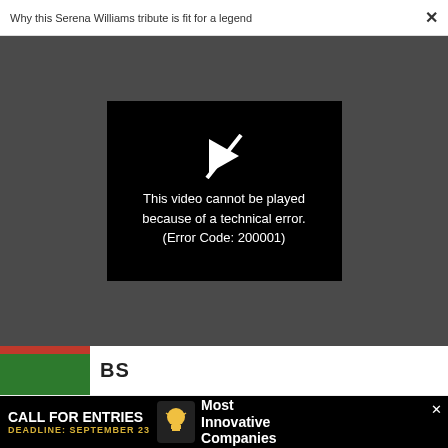Why this Serena Williams tribute is fit for a legend
[Figure (screenshot): Video player showing error: 'This video cannot be played because of a technical error. (Error Code: 200001)' on dark background]
BS
CO-DESIGN
One chart illustrates how languages are the same across the globe
[Figure (photo): Colorful circular microscopic or artistic image with green oval shapes on purple/pink background]
[Figure (infographic): Advertisement banner: CALL FOR ENTRIES, DEADLINE: SEPTEMBER 23, Most Innovative Companies]